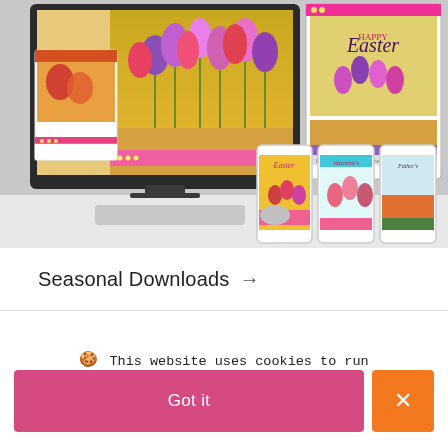[Figure (screenshot): Screenshot of greeting card software showing Easter, Valentine's, and Father's Day cards displayed on a desktop iMac and mobile phones. Cards feature floral/seasonal artwork with colorful designs including Easter tulips, autumn scenes, and holiday greetings.]
Seasonal Downloads →
🍪 This website uses cookies to run beautifully.  Privacy Policy
Got it
✕